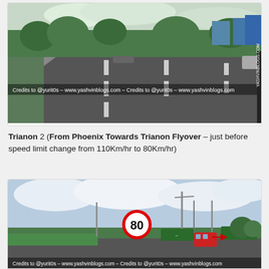[Figure (photo): Road photo showing a wide multi-lane road from Phoenix towards Trianon, with cars on road, green trees and buildings in background. Watermark reads: Credits to @yurit0s – www.yashvinblogs.com]
Trianon 2 (From Phoenix Towards Trianon Flyover – just before speed limit change from 110Km/hr to 80Km/hr)
[Figure (photo): Road photo showing highway approach to Trianon Flyover with an 80 km/h speed limit sign, green road direction signs, street lights, a red bus, and cloudy sky. Watermark reads: Credits to @yurit0s – www.yashvinblogs.com – Credits to @yurit0s – www.yashvinblogs.com]